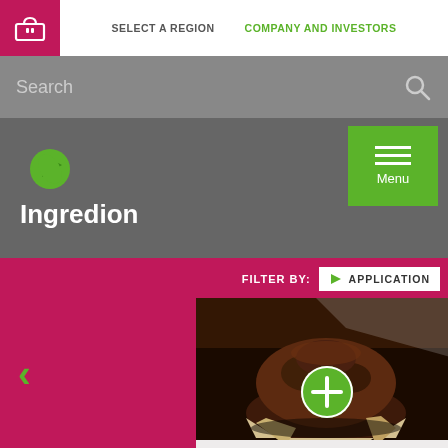SELECT A REGION   COMPANY AND INVESTORS
Search
[Figure (logo): Ingredion logo with green leaf icon and white text 'Ingredion' on gray background]
Menu
FILTER BY:   APPLICATION
[Figure (photo): Close-up photo of a chocolate muffin dusted with cocoa powder, in a paper wrapper, with a green plus button overlay]
Bakery